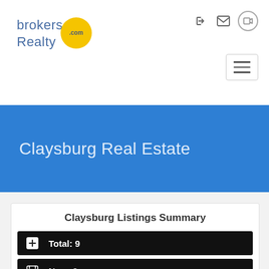[Figure (logo): brokersRealty.com logo with yellow circle and blue text]
Claysburg Real Estate
Claysburg Listings Summary
Total: 9
New: 0